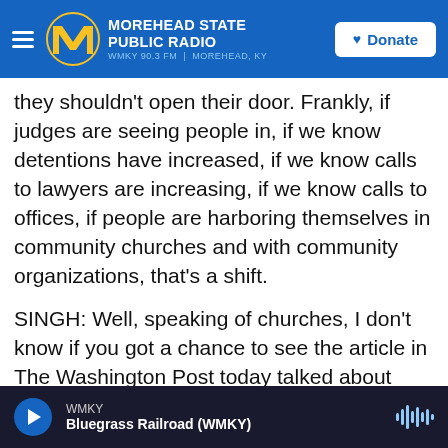MOREHEAD STATE PUBLIC RADIO | WMKY 90.3 FM | MOREHEAD, KY | Donate
they shouldn't open their door. Frankly, if judges are seeing people in, if we know detentions have increased, if we know calls to lawyers are increasing, if we know calls to offices, if people are harboring themselves in community churches and with community organizations, that's a shift.
SINGH: Well, speaking of churches, I don't know if you got a chance to see the article in The Washington Post today talked about sanctuary sites. And it said, you know, churches, schools, hospitals are considered among these places where ICE traditionally considered off-limits, unless
WMKY | Bluegrass Railroad (WMKY)